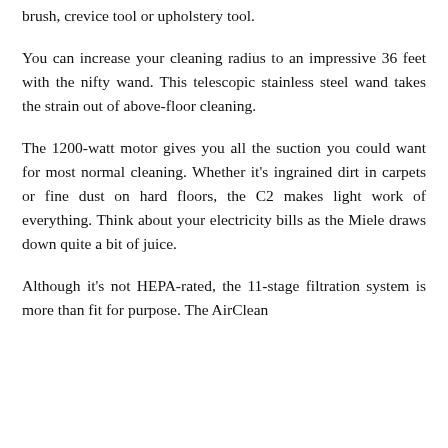brush, crevice tool or upholstery tool.
You can increase your cleaning radius to an impressive 36 feet with the nifty wand. This telescopic stainless steel wand takes the strain out of above-floor cleaning.
The 1200-watt motor gives you all the suction you could want for most normal cleaning. Whether it's ingrained dirt in carpets or fine dust on hard floors, the C2 makes light work of everything. Think about your electricity bills as the Miele draws down quite a bit of juice.
Although it's not HEPA-rated, the 11-stage filtration system is more than fit for purpose. The AirClean